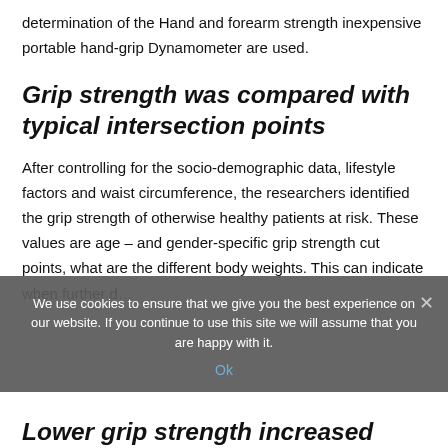determination of the Hand and forearm strength inexpensive portable hand-grip Dynamometer are used.
Grip strength was compared with typical intersection points
After controlling for the socio-demographic data, lifestyle factors and waist circumference, the researchers identified the grip strength of otherwise healthy patients at risk. These values are age – and gender-specific grip strength cut points, what are the different body weights. This can indicate when further d…
We use cookies to ensure that we give you the best experience on our website. If you continue to use this site we will assume that you are happy with it.
Ok
Lower grip strength increased